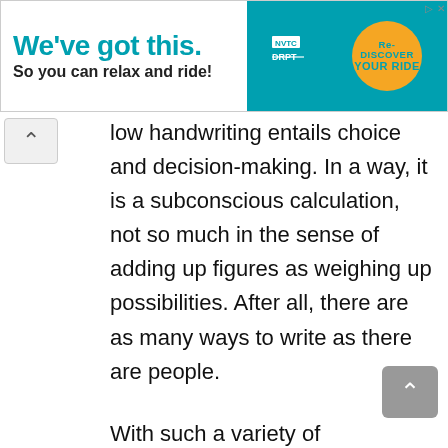[Figure (infographic): Advertisement banner: 'We've got this. So you can relax and ride!' with NVTC and DRPT logos and Re-DISCOVER YOUR RIDE orange circle badge on teal background]
…how handwriting entails choice and decision-making. In a way, it is a subconscious calculation, not so much in the sense of adding up figures as weighing up possibilities. After all, there are as many ways to write as there are people.
With such a variety of possibilities, the right choice must be made. It is certainly possible to improve handwriting, no matter how good or bad it already is. The fountain pen can help improve writing by